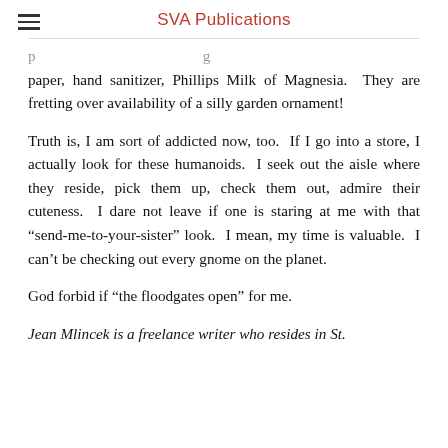SVA Publications
paper, hand sanitizer, Phillips Milk of Magnesia.  They are fretting over availability of a silly garden ornament!
Truth is, I am sort of addicted now, too.  If I go into a store, I actually look for these humanoids.  I seek out the aisle where they reside, pick them up, check them out, admire their cuteness.  I dare not leave if one is staring at me with that “send-me-to-your-sister” look.  I mean, my time is valuable.  I can’t be checking out every gnome on the planet.
God forbid if “the floodgates open” for me.
Jean Mlincek is a freelance writer who resides in St.